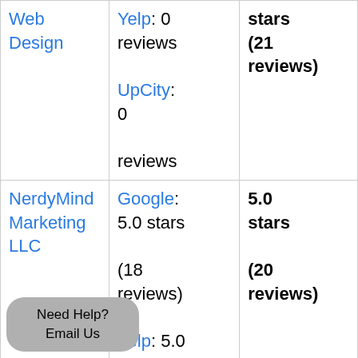| Web Design | Yelp: 0 reviews
UpCity: 0 reviews | stars
(21 reviews) |
| NerdyMind Marketing LLC | Google: 5.0 stars (18 reviews)
Yelp: 5.0 stars (1 review)
UpCity: | 5.0 stars
(20 reviews) |
Need Help? Email Us